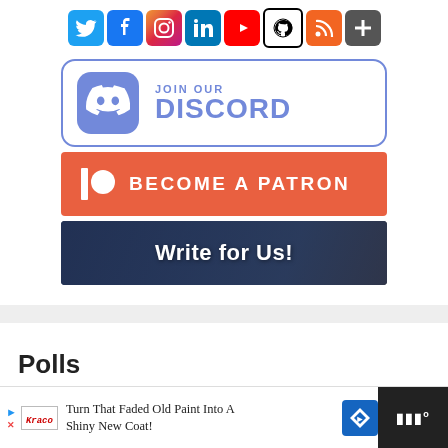[Figure (infographic): Row of social media icons: Twitter (blue bird), Facebook (blue f), Instagram (gradient camera), LinkedIn (blue in), YouTube (red play), GitHub (black octocat), RSS (orange), Plus/share (grey)]
[Figure (infographic): Join Our Discord banner with Discord logo on purple background and DISCORD text in purple on white rounded rectangle]
[Figure (infographic): Become a Patron banner in coral/orange-red with Patreon logo icon and white bold text]
[Figure (infographic): Write for Us! banner with dark blue overlay on keyboard/laptop background photo]
Polls
[Figure (infographic): Advertisement bar: Turn That Faded Old Paint Into A Shiny New Coat! with Kraco brand logo, blue navigation diamond icon, and dark right panel with sound wave icon]